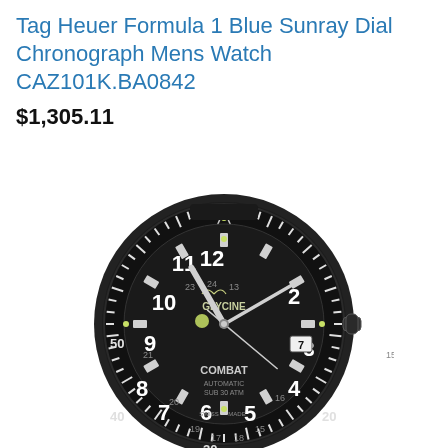Tag Heuer Formula 1 Blue Sunray Dial Chronograph Mens Watch CAZ101K.BA0842
$1,305.11
[Figure (photo): Black Glycine Combat automatic diver watch with black bezel, black dial showing hours 1-12 and inner 24-hour ring, date window at 3 o'clock, luminous hands and markers, crown at 3, on a black rubber strap. Bezel marked with 50, 40, 30, 20 minute markers.]